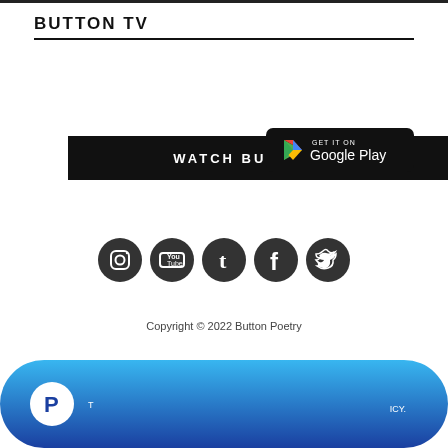BUTTON TV
[Figure (screenshot): Dark button labeled WATCH BUTTON TV]
[Figure (logo): Get it on Google Play badge]
[Figure (infographic): Social media icons: Instagram, YouTube, Tumblr, Facebook, Twitter]
Copyright © 2022 Button Poetry
[Figure (infographic): PayPal branded blue gradient bar with PayPal icon and footer links including Privacy Policy]